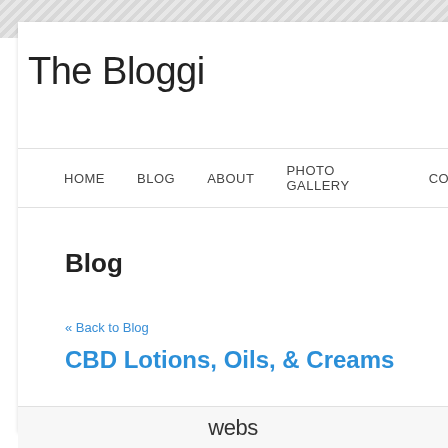The Bloggi
HOME   BLOG   ABOUT   PHOTO GALLERY   CONTACT
Blog
« Back to Blog
CBD Lotions, Oils, & Creams
webs